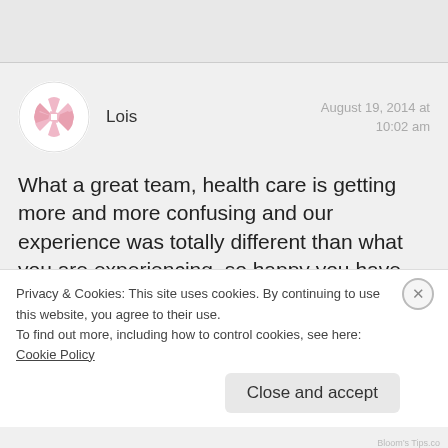[Figure (illustration): Gray header bar at top of page]
[Figure (illustration): Circular avatar with pink and white pinwheel/snowflake pattern]
Lois
August 19, 2014 at
10:02 am
What a great team, health care is getting more and more confusing and our experience was totally different than what you are experiencing, so happy you have such warm and positive support!
Privacy & Cookies: This site uses cookies. By continuing to use this website, you agree to their use.
To find out more, including how to control cookies, see here: Cookie Policy
Close and accept